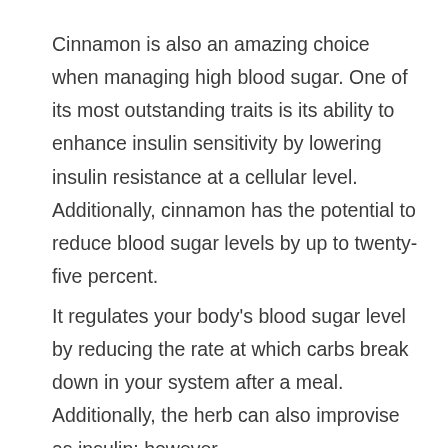Cinnamon is also an amazing choice when managing high blood sugar. One of its most outstanding traits is its ability to enhance insulin sensitivity by lowering insulin resistance at a cellular level. Additionally, cinnamon has the potential to reduce blood sugar levels by up to twenty-five percent.
It regulates your body's blood sugar level by reducing the rate at which carbs break down in your system after a meal. Additionally, the herb can also improvise as insulin; however,